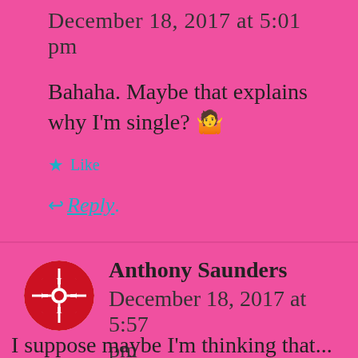December 18, 2017 at 5:01 pm
Bahaha. Maybe that explains why I'm single? 🤷
★ Like
↩ Reply
Anthony Saunders
December 18, 2017 at 5:57 pm
I suppose maybe I'm thinking that...